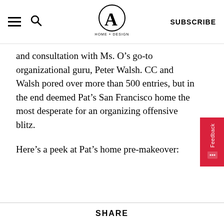CA HOME + DESIGN | SUBSCRIBE
and consultation with Ms. O’s go-to organizational guru, Peter Walsh. CC and Walsh pored over more than 500 entries, but in the end deemed Pat’s San Francisco home the most desperate for an organizing offensive blitz.
Here’s a peek at Pat’s home pre-makeover:
SHARE